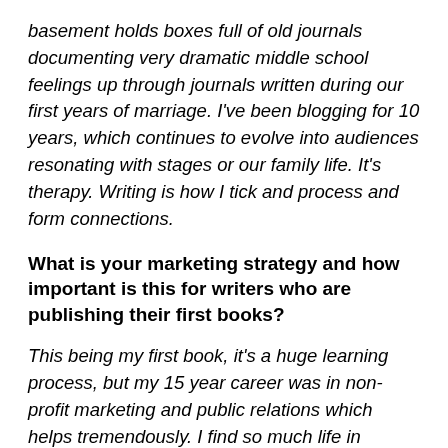basement holds boxes full of old journals documenting very dramatic middle school feelings up through journals written during our first years of marriage.  I've been blogging for 10 years, which continues to evolve into audiences resonating with stages or our family life.  It's therapy.  Writing is how I tick and process and form connections.
What is your marketing strategy and how important is this for writers who are publishing their first books?
This being my first book, it's a huge learning process, but my 15 year career was in non-profit marketing and public relations which helps tremendously.  I find so much life in searching for creative and bold ways to spread important messages.  We've formed a list of influencers who are conencted to autism and tourettes to help us launch the